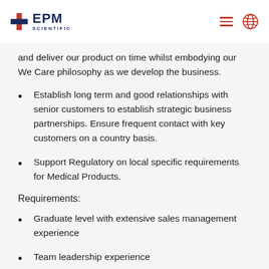EPM Scientific
and deliver our product on time whilst embodying our We Care philosophy as we develop the business.
Establish long term and good relationships with senior customers to establish strategic business partnerships. Ensure frequent contact with key customers on a country basis.
Support Regulatory on local specific requirements for Medical Products.
Requirements:
Graduate level with extensive sales management experience
Team leadership experience